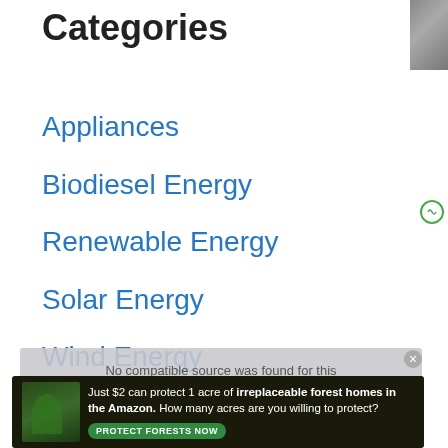Categories
Appliances
Biodiesel Energy
Renewable Energy
Solar Energy
Wind Energy
No compatible source was found for this
Company
Just $2 can protect 1 acre of irreplaceable forest homes in the Amazon. How many acres are you willing to protect?
PROTECT FORESTS NOW